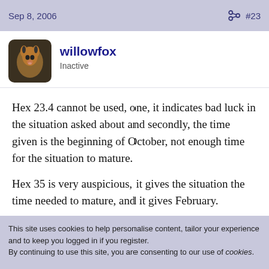Sep 8, 2006   #23
willowfox
Inactive
Hex 23.4 cannot be used, one, it indicates bad luck in the situation asked about and secondly, the time given is the beginning of October, not enough time for the situation to mature.
Hex 35 is very auspicious, it gives the situation the time needed to mature, and it gives February.
This site uses cookies to help personalise content, tailor your experience and to keep you logged in if you register.
By continuing to use this site, you are consenting to our use of cookies.
✓ Accept
Learn more…